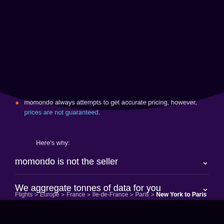momondo always attempts to get accurate pricing, however, prices are not guaranteed. Here's why:
momondo is not the seller
We aggregate tonnes of data for you
Why aren't prices 100% accurate?
Flights > Europe > France > Ile-de-France > Paris > New York to Paris